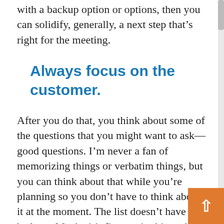with a backup option or options, then you can solidify, generally, a next step that's right for the meeting.
Always focus on the customer.
After you do that, you think about some of the questions that you might want to ask—good questions. I'm never a fan of memorizing things or verbatim things, but you can think about that while you're planning so you don't have to think about it at the moment. The list doesn't have to be long. Maybe it's five or six things that you really want to ask about. Think about